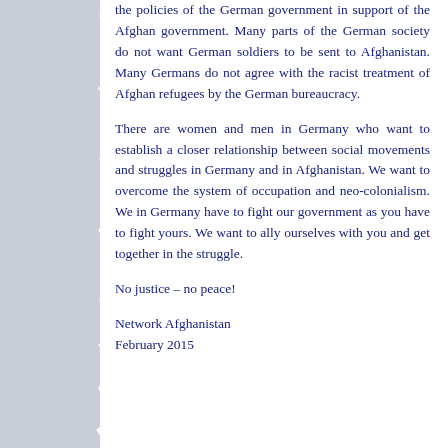the policies of the German government in support of the Afghan government. Many parts of the German society do not want German soldiers to be sent to Afghanistan. Many Germans do not agree with the racist treatment of Afghan refugees by the German bureaucracy.
There are women and men in Germany who want to establish a closer relationship between social movements and struggles in Germany and in Afghanistan. We want to overcome the system of occupation and neo-colonialism. We in Germany have to fight our government as you have to fight yours. We want to ally ourselves with you and get together in the struggle.
No justice – no peace!
Network Afghanistan
February 2015